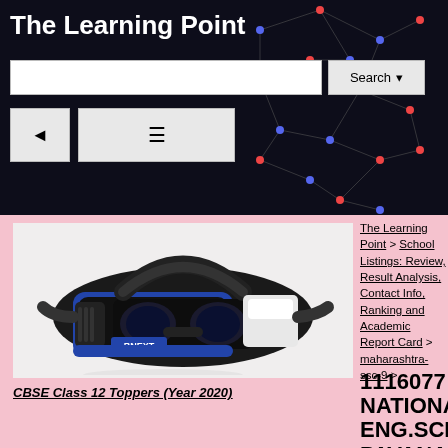The Learning Point
[Figure (screenshot): Website header with dark background showing network/constellation pattern with red and blue dots connected by lines]
[Figure (photo): BNEXT VR Headset product photo on white background]
CBSE Class 12 Toppers (Year 2020)
The Learning Point > School Listings: Review, Result Analysis, Contact Info, Ranking and Academic Report Card > maharashtra-ssc-9 >
1116077 NATIONAL ENG.SCHO PAVANANA SANGAVI,